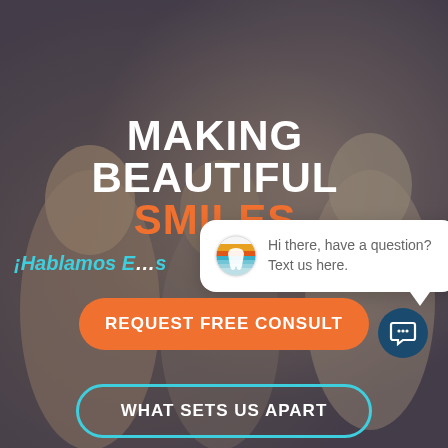[Figure (photo): Background photo of three young people smiling and laughing outdoors, with a dark semi-transparent overlay applied over the image giving it a muted, warm-grey tone.]
MAKING BEAUTIFUL SMILES
¡Hablamos E...s
[Figure (screenshot): Chat bubble popup with dental practice logo icon (sunset/teeth design) and text: Hi there, have a question? Text us here.]
close
REQUEST FREE CONSULT
WHAT SETS US APART